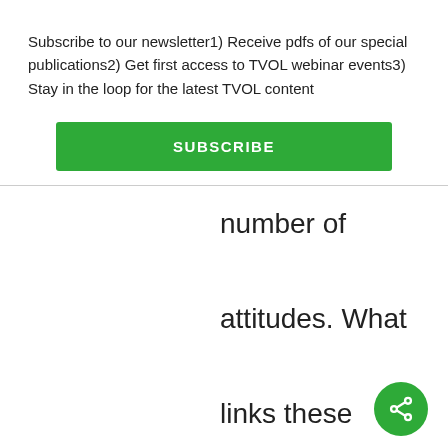Subscribe to our newsletter1) Receive pdfs of our special publications2) Get first access to TVOL webinar events3) Stay in the loop for the latest TVOL content
[Figure (other): Green SUBSCRIBE button]
number of attitudes. What links these opinions, habits and behaviours that logistic regression consistently links